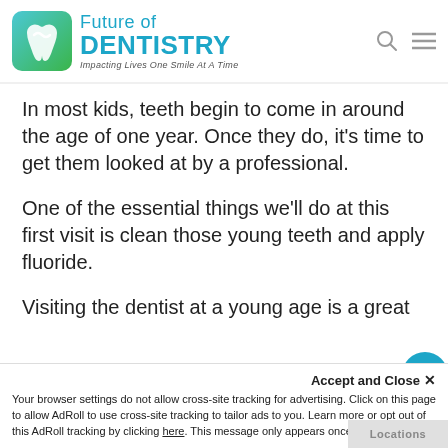[Figure (logo): Future of Dentistry logo with teal tooth icon and text 'Future of DENTISTRY - Impacting Lives One Smile At A Time']
In most kids, teeth begin to come in around the age of one year. Once they do, it's time to get them looked at by a professional.
One of the essential things we'll do at this first visit is clean those young teeth and apply fluoride.
Visiting the dentist at a young age is a great way to help your child get used t…
Accept and Close ✕
Your browser settings do not allow cross-site tracking for advertising. Click on this page to allow AdRoll to use cross-site tracking to tailor ads to you. Learn more or opt out of this AdRoll tracking by clicking here. This message only appears once.